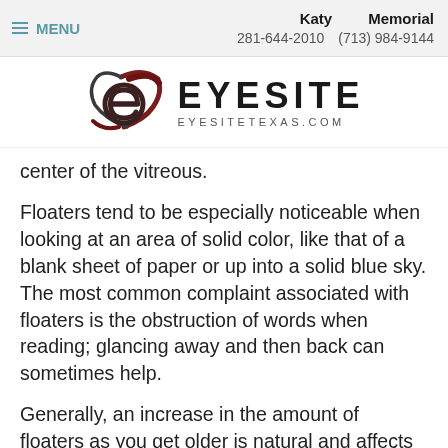MENU | Katy 281-644-2010  Memorial (713) 984-9144
[Figure (logo): Eyesite logo with stylized eye icon and text EYESITE EYESITETEXAS.COM]
center of the vitreous.
Floaters tend to be especially noticeable when looking at an area of solid color, like that of a blank sheet of paper or up into a solid blue sky. The most common complaint associated with floaters is the obstruction of words when reading; glancing away and then back can sometimes help.
Generally, an increase in the amount of floaters as you get older is natural and affects almost everyone. If, however, you begin to notice a large number of